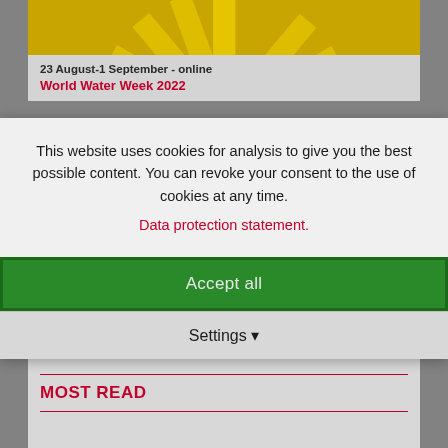[Figure (illustration): Golden/yellow sunburst pattern decorative image at the top of an event card]
23 August-1 September - online
World Water Week 2022
This website uses cookies for analysis to give you the best possible content. You can revoke your consent to the use of cookies at any time.
Data protection statement.
Accept all
Settings
Show all events
MOST READ